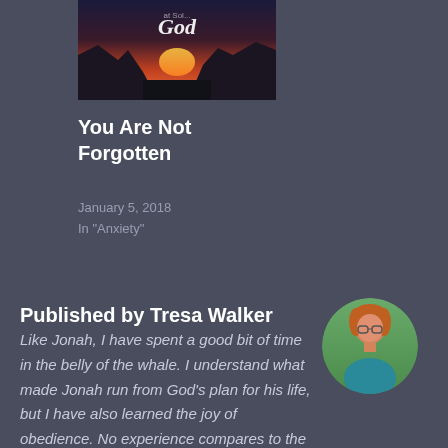[Figure (illustration): Book cover image showing a sunset/desert landscape with the word 'God' visible, partially cropped at top of page]
You Are Not Forgotten
January 5, 2018
In "Anxiety"
Published by Tresa Walker
Like Jonah, I have spent a good bit of time in the belly of the whale. I understand what made Jonah run from God's plan for his life, but I have also learned the joy of obedience. No experience compares to the time I spent running from God calling me